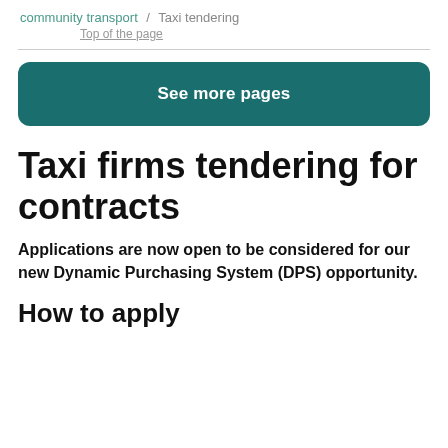community transport / Taxi tendering
Top of the page
See more pages
Taxi firms tendering for contracts
Applications are now open to be considered for our new Dynamic Purchasing System (DPS) opportunity.
How to apply